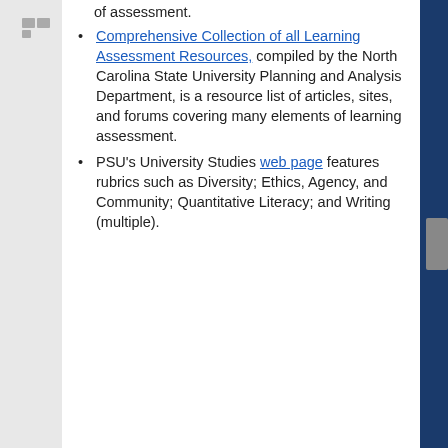of assessment.
Comprehensive Collection of all Learning Assessment Resources, compiled by the North Carolina State University Planning and Analysis Department, is a resource list of articles, sites, and forums covering many elements of learning assessment.
PSU's University Studies web page features rubrics such as Diversity; Ethics, Agency, and Community; Quantitative Literacy; and Writing (multiple).